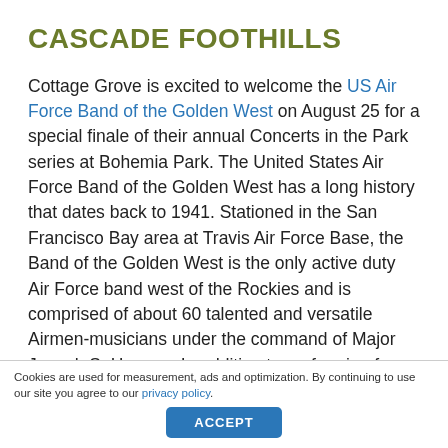CASCADE FOOTHILLS
Cottage Grove is excited to welcome the US Air Force Band of the Golden West on August 25 for a special finale of their annual Concerts in the Park series at Bohemia Park. The United States Air Force Band of the Golden West has a long history that dates back to 1941. Stationed in the San Francisco Bay area at Travis Air Force Base, the Band of the Golden West is the only active duty Air Force band west of the Rockies and is comprised of about 60 talented and versatile Airmen-musicians under the command of Major Joseph S. Hansen. In addition to performing for civilian communities throughout the states of California, Washington, Oregon, Arizona, and Nevada,
Cookies are used for measurement, ads and optimization. By continuing to use our site you agree to our privacy policy.